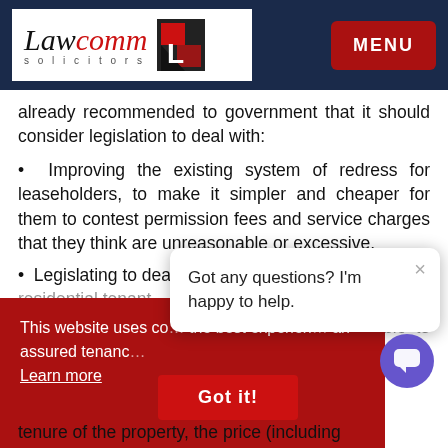[Figure (logo): Lawcomm Solicitors logo with red L icon]
already recommended to government that it should consider legislation to deal with:
Improving the existing system of redress for leaseholders, to make it simpler and cheaper for them to contest permission fees and service charges that they think are unreasonable or excessive.
Legislating to deal with the "trap" where a residential tenant...
This website uses co... the best experien... an assured tenanc...
Learn more
Improving the quality of information available to prospective buyers early in the process, including information about tenure of the property, the price (including the costs of buying) and the management of
Got any questions? I'm happy to help.